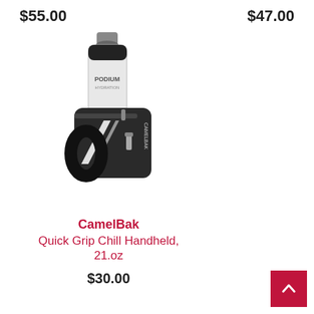$55.00
$47.00
[Figure (photo): CamelBak Quick Grip Chill Handheld water bottle holder with black carrier strap and clear Podium bottle]
CamelBak Quick Grip Chill Handheld, 21.oz
$30.00